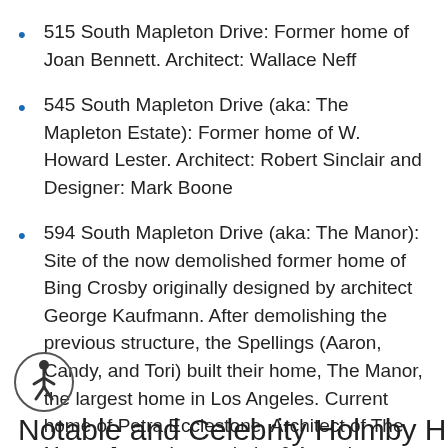515 South Mapleton Drive: Former home of Joan Bennett. Architect: Wallace Neff
545 South Mapleton Drive (aka: The Mapleton Estate): Former home of W. Howard Lester. Architect: Robert Sinclair and Designer: Mark Boone
594 South Mapleton Drive (aka: The Manor): Site of the now demolished former home of Bing Crosby originally designed by architect George Kaufmann. After demolishing the previous structure, the Spellings (Aaron, Candy, and Tori) built their home, The Manor, the largest home in Los Angeles. Current home of Petra Ecclestone. Architect of The Manor: James Langenheim & Associates
Notable and Celebrity Holmby Hills